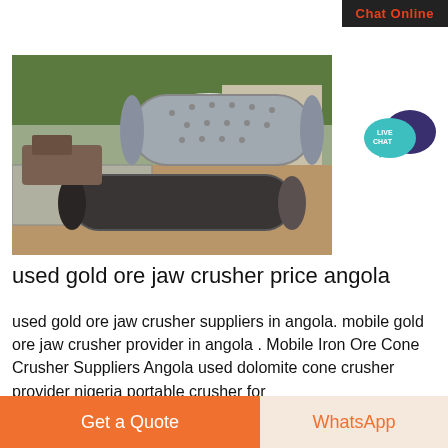Chat Online
[Figure (photo): Industrial mining equipment showing cylindrical drum crushers/rollers on a construction/mining site with green trees in the background and sandy/muddy ground]
used gold ore jaw crusher price angola
used gold ore jaw crusher suppliers in angola. mobile gold ore jaw crusher provider in angola . Mobile Iron Ore Cone Crusher Suppliers Angola used dolomite cone crusher provider nigeria portable crusher for